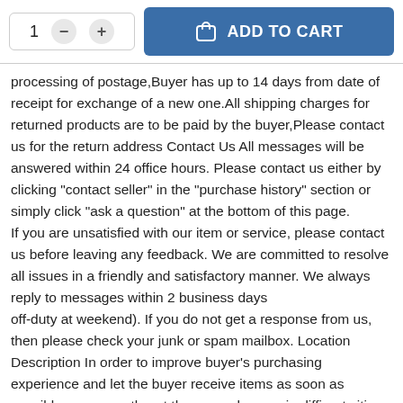[Figure (screenshot): E-commerce quantity selector with minus and plus buttons, and a blue 'ADD TO CART' button with a shopping bag icon]
processing of postage,Buyer has up to 14 days from date of receipt for exchange of a new one.All shipping charges for returned products are to be paid by the buyer,Please contact us for the return address Contact Us All messages will be answered within 24 office hours. Please contact us either by clicking "contact seller" in the "purchase history" section or simply click "ask a question" at the bottom of this page. If you are unsatisfied with our item or service, please contact us before leaving any feedback. We are committed to resolve all issues in a friendly and satisfactory manner. We always reply to messages within 2 business days off-duty at weekend). If you do not get a response from us, then please check your junk or spam mailbox. Location Description In order to improve buyer's purchasing experience and let the buyer receive items as soon as possible, we currently set three warehouses in diffirent cities of United States : one in Walnut, California; one in Hebron, Kentucky. When the order is generated, we would send the item to the buyer from the